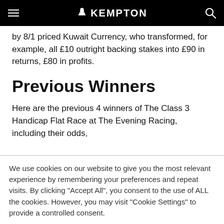Kempton
This edition of The Class 3 Handicap Flat Race was won by 8/1 priced Kuwait Currency, who transformed, for example, all £10 outright backing stakes into £90 in returns, £80 in profits.
Previous Winners
Here are the previous 4 winners of The Class 3 Handicap Flat Race at The Evening Racing, including their odds,
We use cookies on our website to give you the most relevant experience by remembering your preferences and repeat visits. By clicking "Accept All", you consent to the use of ALL the cookies. However, you may visit "Cookie Settings" to provide a controlled consent.